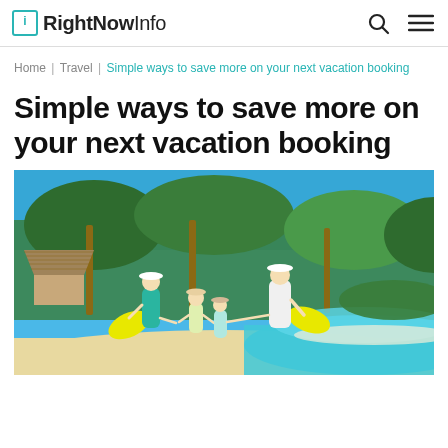RightNowInfo
Home | Travel | Simple ways to save more on your next vacation booking
Simple ways to save more on your next vacation booking
[Figure (photo): A family of four — two adults and two children — seen from behind, standing on a tropical beach with turquoise water, palm trees, thatched huts, and carrying yellow inflatable floats.]